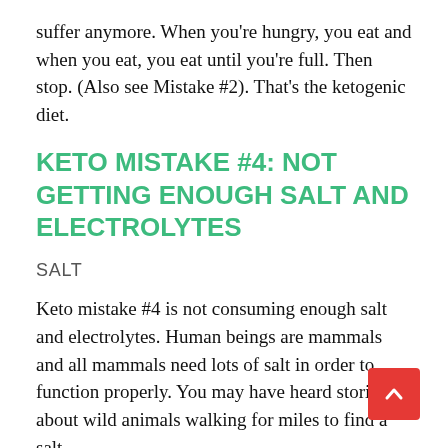suffer anymore. When you're hungry, you eat and when you eat, you eat until you're full. Then stop. (Also see Mistake #2). That's the ketogenic diet.
KETO MISTAKE #4: NOT GETTING ENOUGH SALT AND ELECTROLYTES
SALT
Keto mistake #4 is not consuming enough salt and electrolytes. Human beings are mammals and all mammals need lots of salt in order to function properly. You may have heard stories about wild animals walking for miles to find a salt